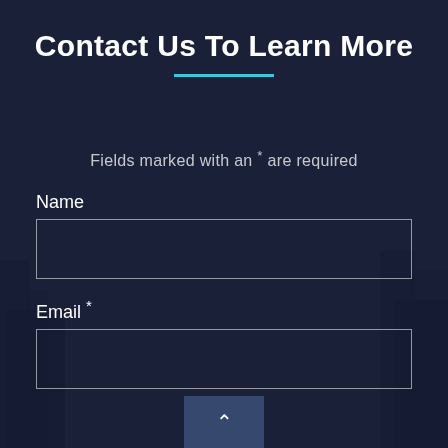Contact Us To Learn More
Fields marked with an * are required
Name
Email *